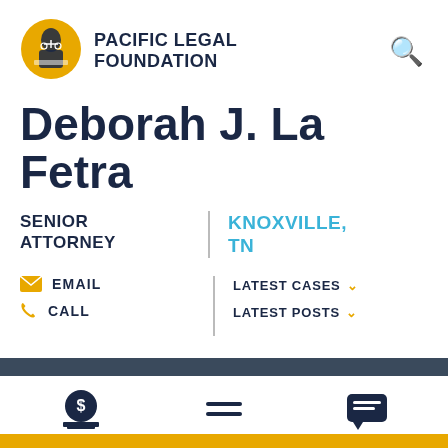[Figure (logo): Pacific Legal Foundation logo: circular yellow badge with figure of Lady Justice at desk]
PACIFIC LEGAL FOUNDATION
Deborah J. La Fetra
SENIOR ATTORNEY
KNOXVILLE, TN
EMAIL
CALL
LATEST CASES
LATEST POSTS
DONATE   NAVIGATE   CONTACT